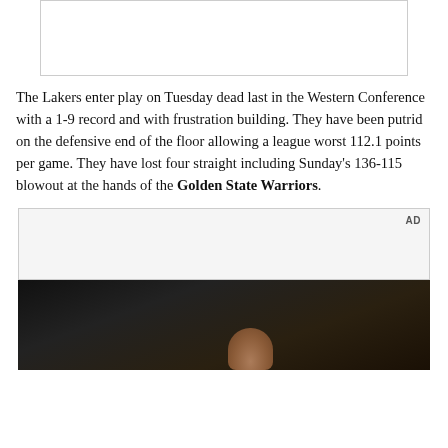[Figure (photo): Advertisement placeholder image at top of page, light gray background with border]
The Lakers enter play on Tuesday dead last in the Western Conference with a 1-9 record and with frustration building. They have been putrid on the defensive end of the floor allowing a league worst 112.1 points per game. They have lost four straight including Sunday's 136-115 blowout at the hands of the Golden State Warriors.
[Figure (photo): Advertisement box with AD label, light gray background]
[Figure (photo): Dark photo showing interior scene with a hand visible, bottom portion of page]